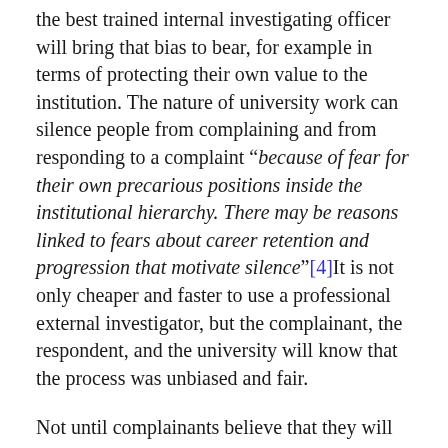the best trained internal investigating officer will bring that bias to bear, for example in terms of protecting their own value to the institution. The nature of university work can silence people from complaining and from responding to a complaint "because of fear for their own precarious positions inside the institutional hierarchy. There may be reasons linked to fears about career retention and progression that motivate silence"[4]It is not only cheaper and faster to use a professional external investigator, but the complainant, the respondent, and the university will know that the process was unbiased and fair.
Not until complainants believe that they will be taken seriously, and treated sensitively and fairly, and everyone on campus understands their responsibility to respect their fellow students and staff, will sexual harassment begin to become less of a problem for Britain's universities.